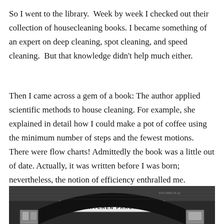So I went to the library.  Week by week I checked out their collection of housecleaning books. I became something of an expert on deep cleaning, spot cleaning, and speed cleaning.  But that knowledge didn't help much either.
Then I came across a gem of a book: The author applied scientific methods to house cleaning. For example, she explained in detail how I could make a pot of coffee using the minimum number of steps and the fewest motions. There were flow charts! Admittedly the book was a little out of date. Actually, it was written before I was born; nevertheless, the notion of efficiency enthralled me.
[Figure (photo): Black and white photograph of a book cover or page titled 'THE KITCHEN PRACTICAL' with a circular arc shape (possibly a clock or diagram) and small framed images on the sides.]